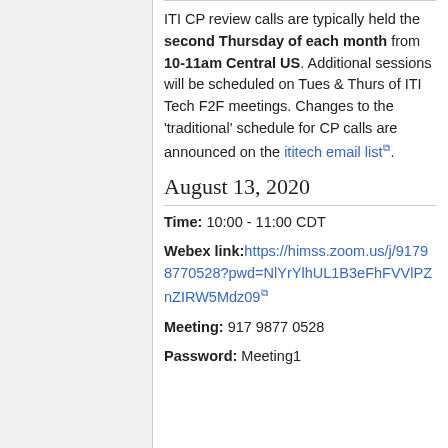ITI CP review calls are typically held the second Thursday of each month from 10-11am Central US. Additional sessions will be scheduled on Tues & Thurs of ITI Tech F2F meetings. Changes to the 'traditional' schedule for CP calls are announced on the ititech email list.
August 13, 2020
Time: 10:00 - 11:00 CDT
Webex link: https://himss.zoom.us/j/91798770528?pwd=NlYrYlhUL1B3eFhFVVlPZnZIRW5Mdz09
Meeting: 917 9877 0528
Password: Meeting1